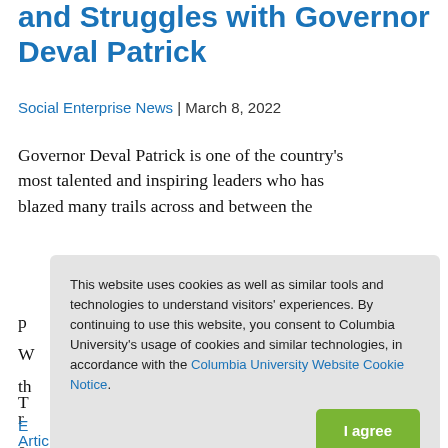and Struggles with Governor Deval Patrick
Social Enterprise News | March 8, 2022
Governor Deval Patrick is one of the country's most talented and inspiring leaders who has blazed many trails across and between the p... W... th... r... e...
This website uses cookies as well as similar tools and technologies to understand visitors' experiences. By continuing to use this website, you consent to Columbia University's usage of cookies and similar technologies, in accordance with the Columbia University Website Cookie Notice.
I agree
T...
E...
Article